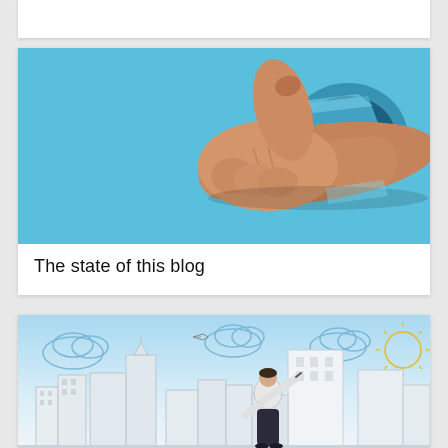[Figure (photo): Thumbs up hand breaking through a blue background, card layout for a blog post]
The state of this blog
[Figure (photo): Man in white shirt drawing on a city skyline illustration with sky and clouds in background]